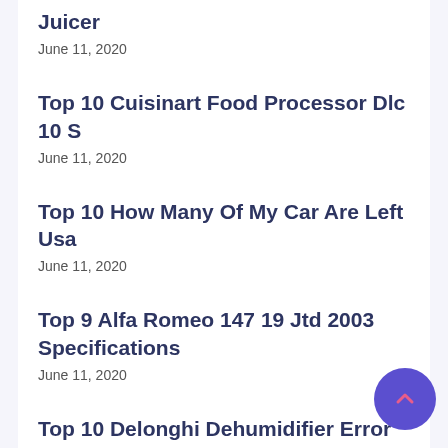Juicer
June 11, 2020
Top 10 Cuisinart Food Processor Dlc 10 S
June 11, 2020
Top 10 How Many Of My Car Are Left Usa
June 11, 2020
Top 9 Alfa Romeo 147 19 Jtd 2003 Specifications
June 11, 2020
Top 10 Delonghi Dehumidifier Error